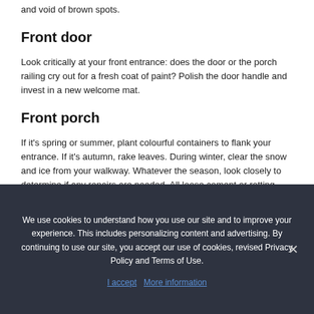and void of brown spots.
Front door
Look critically at your front entrance: does the door or the porch railing cry out for a fresh coat of paint? Polish the door handle and invest in a new welcome mat.
Front porch
If it's spring or summer, plant colourful containers to flank your entrance. If it's autumn, rake leaves. During winter, clear the snow and ice from your walkway. Whatever the season, look closely to determine if any repairs are needed. All loose cement or rotting wood should be replaced.
Shine on
We use cookies to understand how you use our site and to improve your experience. This includes personalizing content and advertising. By continuing to use our site, you accept our use of cookies, revised Privacy Policy and Terms of Use.
I accept   More information